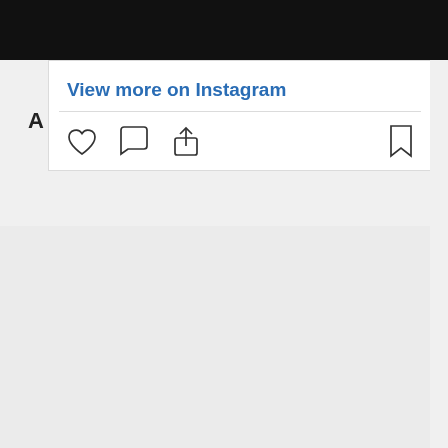[Figure (screenshot): Instagram embed UI showing 'View more on Instagram' link with heart, comment, share, and bookmark icons]
View more on Instagram